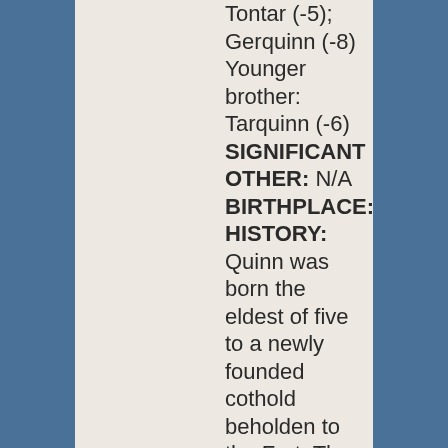Tontar (-5); Gerquinn (-8) Younger brother: Tarquinn (-6) SIGNIFICANT OTHER: N/A BIRTHPLACE: HISTORY: Quinn was born the eldest of five to a newly founded cothold beholden to the Fort. The people were the descendents of a minor